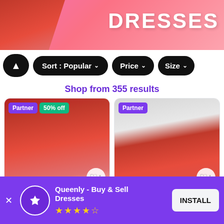[Figure (screenshot): Pink banner with woman in red dress on left and word DRESSES in large white bold text on right]
Sort : Popular  Price  Size
Shop from 355 results
[Figure (photo): Product card: red satin A-line gown with Partner badge and 50% off badge. Size 12, 2 saved. Faviana, A-line ...]
[Figure (photo): Product card: beaded red gown with Partner badge. Size 24, 15 saved. Tiffany Designs, ...]
Queenly - Buy & Sell Dresses  INSTALL